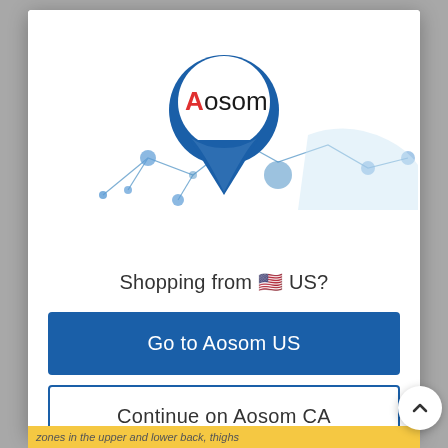[Figure (logo): Aosom location pin map illustration with map network lines and blue dots on white background]
Shopping from 🇺🇸 US?
Go to Aosom US
Continue on Aosom CA